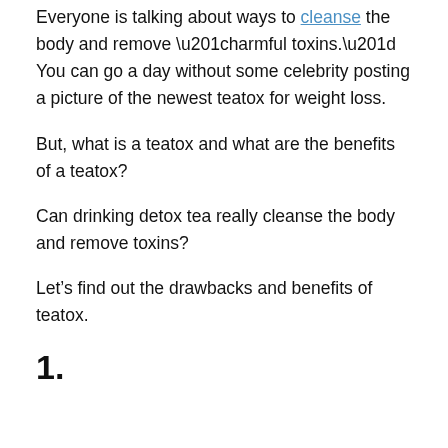Everyone is talking about ways to cleanse the body and remove “harmful toxins.” You can go a day without some celebrity posting a picture of the newest teatox for weight loss.
But, what is a teatox and what are the benefits of a teatox?
Can drinking detox tea really cleanse the body and remove toxins?
Let’s find out the drawbacks and benefits of teatox.
1.